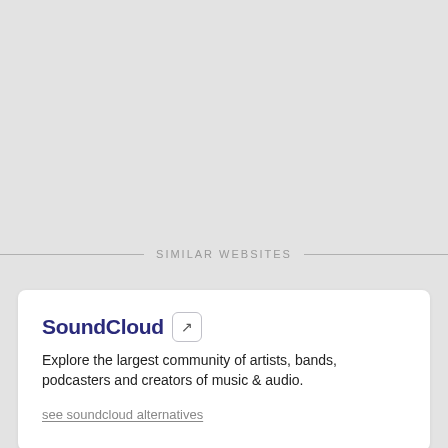SIMILAR WEBSITES
SoundCloud
Explore the largest community of artists, bands, podcasters and creators of music & audio.
see soundcloud alternatives